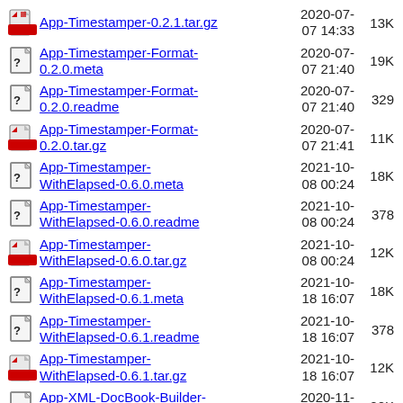App-Timestamper-0.2.1.tar.gz  2020-07-07 14:33  13K
App-Timestamper-Format-0.2.0.meta  2020-07-07 21:40  19K
App-Timestamper-Format-0.2.0.readme  2020-07-07 21:40  329
App-Timestamper-Format-0.2.0.tar.gz  2020-07-07 21:41  11K
App-Timestamper-WithElapsed-0.6.0.meta  2021-10-08 00:24  18K
App-Timestamper-WithElapsed-0.6.0.readme  2021-10-08 00:24  378
App-Timestamper-WithElapsed-0.6.0.tar.gz  2021-10-08 00:24  12K
App-Timestamper-WithElapsed-0.6.1.meta  2021-10-18 16:07  18K
App-Timestamper-WithElapsed-0.6.1.readme  2021-10-18 16:07  378
App-Timestamper-WithElapsed-0.6.1.tar.gz  2021-10-18 16:07  12K
App-XML-DocBook-Builder-0.1003.meta  2020-11-26 21:10  20K
App-XML-DocBook-Builder-  2020-11-